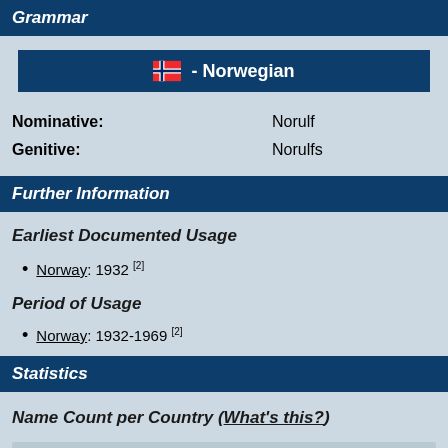Grammar
🇳🇴 - Norwegian
| Nominative: | Norulf |
| Genitive: | Norulfs |
Further Information
Earliest Documented Usage
Norway: 1932 [2]
Period of Usage
Norway: 1932-1969 [2]
Statistics
Name Count per Country (What's this?)